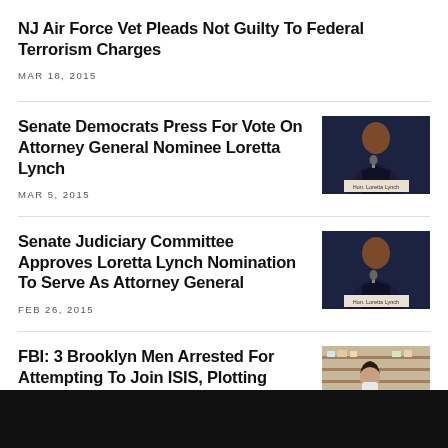NJ Air Force Vet Pleads Not Guilty To Federal Terrorism Charges
MAR 18, 2015
Senate Democrats Press For Vote On Attorney General Nominee Loretta Lynch
MAR 5, 2015
[Figure (photo): Photo of Loretta Lynch at a hearing table with nameplate reading Hon. Loretta Lynch]
Senate Judiciary Committee Approves Loretta Lynch Nomination To Serve As Attorney General
FEB 26, 2015
[Figure (photo): Photo of Loretta Lynch at a hearing table with nameplate reading Hon. Loretta Lynch]
FBI: 3 Brooklyn Men Arrested For Attempting To Join ISIS, Plotting Terror Attacks In U.S.
[Figure (photo): Photo of a woman in a store wearing a mask]